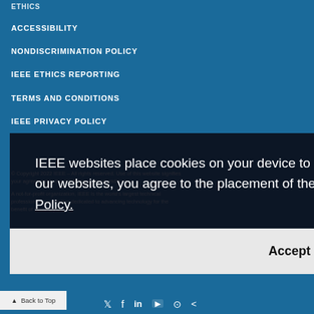ACCESSIBILITY
NONDISCRIMINATION POLICY
IEEE ETHICS REPORTING
TERMS AND CONDITIONS
IEEE PRIVACY POLICY
[Figure (screenshot): Cookie consent overlay with dark semi-transparent background reading: IEEE websites place cookies on your device to give you the best user experience. By using our websites, you agree to the placement of these cookies. To learn more, read our Privacy Policy. With an Accept & Close button below.]
© Copyright 2022 IEEE – All rights reserved. Use of this website signifies your agreement to the IEEE Terms and Conditions.
A not-for-profit organization, IEEE is the world's largest technical professional organization dedicated to advancing technology for the benefit of humanity.
Back to Top